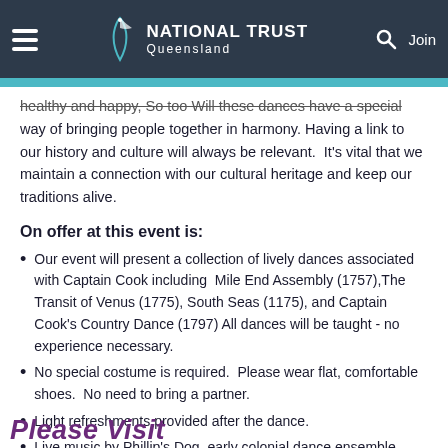National Trust Queensland — navigation header
healthy and happy, So too Will these dances have a special way of bringing people together in harmony. Having a link to our history and culture will always be relevant.  It's vital that we maintain a connection with our cultural heritage and keep our traditions alive.
On offer at this event is:
Our event will present a collection of lively dances associated with Captain Cook including  Mile End Assembly (1757),The Transit of Venus (1775), South Seas (1175), and Captain Cook's Country Dance (1797) All dances will be taught - no experience necessary.
No special costume is required.  Please wear flat, comfortable shoes.  No need to bring a partner.
Light refreshments provided after the dance.
Live music by Phillip's Dog, early colonial dance ensemble.
Please Visit